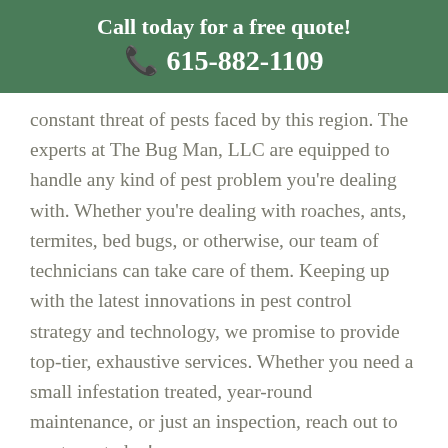Call today for a free quote! 📞 615-882-1109
constant threat of pests faced by this region. The experts at The Bug Man, LLC are equipped to handle any kind of pest problem you're dealing with. Whether you're dealing with roaches, ants, termites, bed bugs, or otherwise, our team of technicians can take care of them. Keeping up with the latest innovations in pest control strategy and technology, we promise to provide top-tier, exhaustive services. Whether you need a small infestation treated, year-round maintenance, or just an inspection, reach out to our team today!